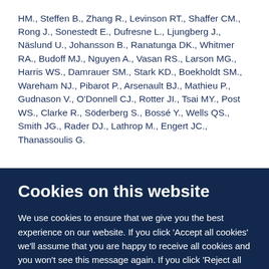HM., Steffen B., Zhang R., Levinson RT., Shaffer CM., Rong J., Sonestedt E., Dufresne L., Ljungberg J., Näslund U., Johansson B., Ranatunga DK., Whitmer RA., Budoff MJ., Nguyen A., Vasan RS., Larson MG., Harris WS., Damrauer SM., Stark KD., Boekholdt SM., Wareham NJ., Pibarot P., Arsenault BJ., Mathieu P., Gudnason V., O'Donnell CJ., Rotter JI., Tsai MY., Post WS., Clarke R., Söderberg S., Bossé Y., Wells QS., Smith JG., Rader DJ., Lathrop M., Engert JC., Thanassoulis G.
Cookies on this website
We use cookies to ensure that we give you the best experience on our website. If you click 'Accept all cookies' we'll assume that you are happy to receive all cookies and you won't see this message again. If you click 'Reject all non-essential cookies' only necessary cookies providing core functionality such as security, network management,